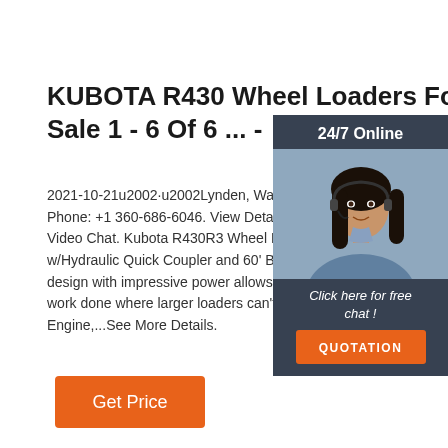KUBOTA R430 Wheel Loaders For Sale 1 - 6 Of 6 ... -
2021-10-21u2002·u2002Lynden, Washington · Phone: +1 360-686-6046. View Details. Email · Video Chat. Kubota R430R3 Wheel Loader - C w/Hydraulic Quick Coupler and 60' Bucket Co design with impressive power allows the R430 work done where larger loaders can't fit. Kubo Engine,...See More Details.
[Figure (other): Chat widget with woman wearing headset, dark blue-gray background, '24/7 Online' header, 'Click here for free chat!' text, and orange QUOTATION button]
Get Price